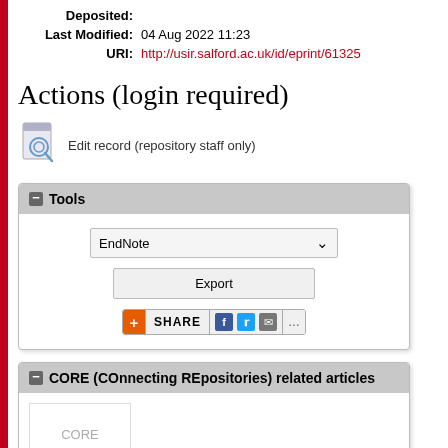Deposited:
Last Modified: 04 Aug 2022 11:23
URI: http://usir.salford.ac.uk/id/eprint/61325
Actions (login required)
Edit record (repository staff only)
Tools panel with EndNote export and Share buttons
CORE (COnnecting REpositories) related articles
Loading sugges...